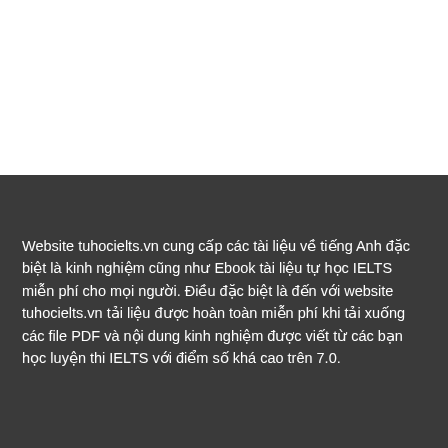Website tuhocielts.vn cung cấp các tài liệu về tiếng Anh đặc biệt là kinh nghiệm cũng như Ebook tài liệu tự học IELTS miễn phí cho mọi người. Điều đặc biệt là đến với website tuhocielts.vn tải liệu được hoàn toàn miễn phí khi tải xuống các file PDF và nội dung kinh nghiệm được viết từ các bạn học luyện thi IELTS với điểm số khá cao trên 7.0.